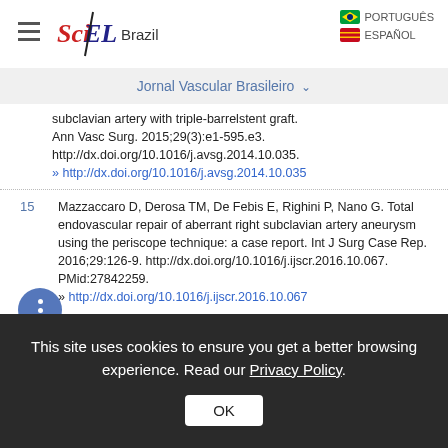SciELO Brazil | PORTUGUÊS | ESPAÑOL
Jornal Vascular Brasileiro
subclavian artery with triple-barrelstent graft. Ann Vasc Surg. 2015;29(3):e1-595.e3. http://dx.doi.org/10.1016/j.avsg.2014.10.035. » http://dx.doi.org/10.1016/j.avsg.2014.10.035
15 Mazzaccaro D, Derosa TM, De Febis E, Righini P, Nano G. Total endovascular repair of aberrant right subclavian artery aneurysm using the periscope technique: a case report. Int J Surg Case Rep. 2016;29:126-9. http://dx.doi.org/10.1016/j.ijscr.2016.10.067. PMid:27842259. » http://dx.doi.org/10.1016/j.ijscr.2016.10.067
This site uses cookies to ensure you get a better browsing experience. Read our Privacy Policy.